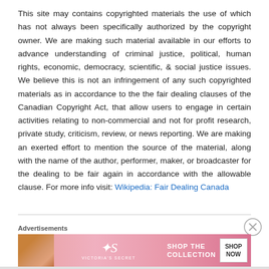This site may contains copyrighted materials the use of which has not always been specifically authorized by the copyright owner. We are making such material available in our efforts to advance understanding of criminal justice, political, human rights, economic, democracy, scientific, & social justice issues. We believe this is not an infringement of any such copyrighted materials as in accordance to the the fair dealing clauses of the Canadian Copyright Act, that allow users to engage in certain activities relating to non-commercial and not for profit research, private study, criticism, review, or news reporting. We are making an exerted effort to mention the source of the material, along with the name of the author, performer, maker, or broadcaster for the dealing to be fair again in accordance with the allowable clause. For more info visit: Wikipedia: Fair Dealing Canada
[Figure (other): Advertisement banner for Victoria's Secret showing a woman's photo, VS logo, 'SHOP THE COLLECTION' text, and a 'SHOP NOW' button on a pink gradient background]